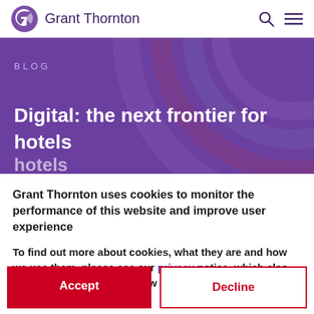Grant Thornton
[Figure (screenshot): Grant Thornton website blog page hero banner with purple concentric arc design, BLOG label, and title 'Digital: the next frontier for hotels']
Grant Thornton uses cookies to monitor the performance of this website and improve user experience
To find out more about cookies, what they are and how we use them, please see our privacy notice, which also provides information on how to delete cookies from your hard drive.
Accept
Decline